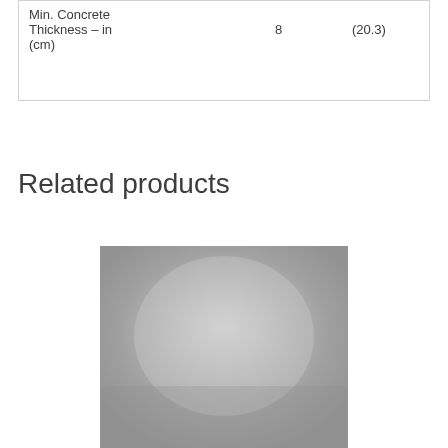| Min. Concrete Thickness – in (cm) | 8 | (20.3) |
Related products
[Figure (photo): A grayscale/silver product image (partially visible), showing a metallic or concrete-related product on a light background.]